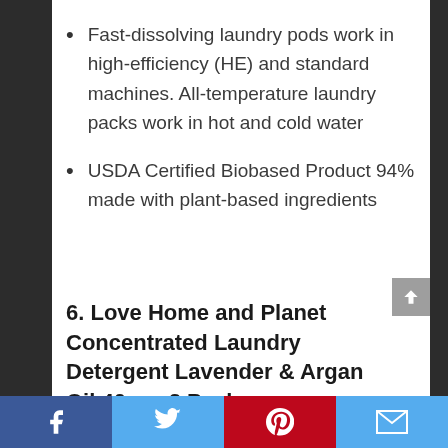Fast-dissolving laundry pods work in high-efficiency (HE) and standard machines. All-temperature laundry packs work in hot and cold water
USDA Certified Biobased Product 94% made with plant-based ingredients
6. Love Home and Planet Concentrated Laundry Detergent Lavender & Argan Oil 40 oz, 2 Pack